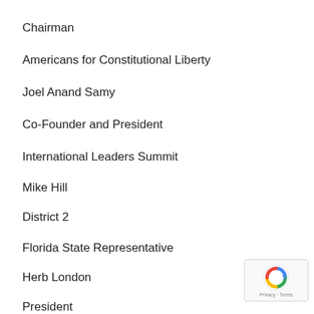Chairman
Americans for Constitutional Liberty
Joel Anand Samy
Co-Founder and President
International Leaders Summit
Mike Hill
District 2
Florida State Representative
Herb London
President
[Figure (other): reCAPTCHA privacy badge with Google logo, showing 'Privacy · Terms' text]